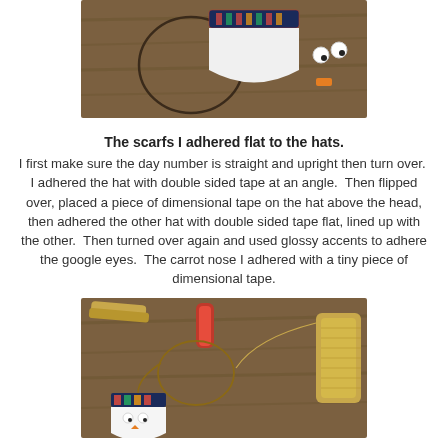[Figure (photo): Craft materials on a wooden table: a wire form, a white half-circle foam piece with decorative navy ribbon, and small googly eyes.]
The scarfs I adhered flat to the hats.
I first make sure the day number is straight and upright then turn over.  I adhered the hat with double sided tape at an angle.  Then flipped over, placed a piece of dimensional tape on the hat above the head, then adhered the other hat with double sided tape flat, lined up with the other.  Then turned over again and used glossy accents to adhere the google eyes.  The carrot nose I adhered with a tiny piece of dimensional tape.
[Figure (photo): Craft tools and materials on a wooden table: pliers, scissors, wire, a roll of gold/yellow thread, and a completed snowman ornament with googly eyes and an orange carrot nose wearing a navy hat with decorative scarf ribbon.]